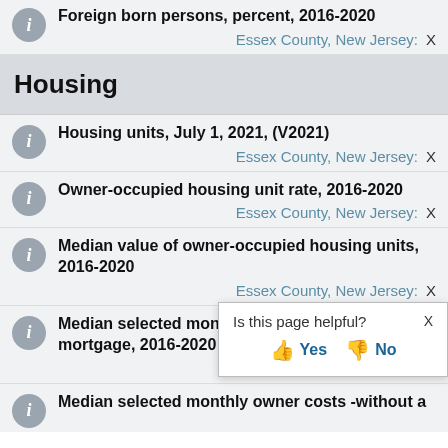Foreign born persons, percent, 2016-2020
Essex County, New Jersey: X
Housing
Housing units, July 1, 2021, (V2021)
Essex County, New Jersey: X
Owner-occupied housing unit rate, 2016-2020
Essex County, New Jersey: X
Median value of owner-occupied housing units, 2016-2020
Essex County, New Jersey: X
Median selected monthly owner costs -with a mortgage, 2016-2020
Essex County, New Jersey: X
Median selected monthly owner costs -without a